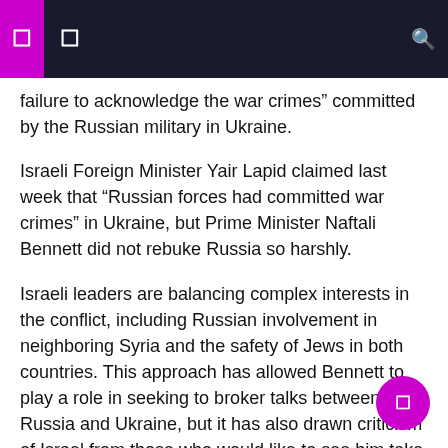failure to acknowledge the war crimes” committed by the Russian military in Ukraine.
Israeli Foreign Minister Yair Lapid claimed last week that “Russian forces had committed war crimes” in Ukraine, but Prime Minister Naftali Bennett did not rebuke Russia so harshly.
Israeli leaders are balancing complex interests in the conflict, including Russian involvement in neighboring Syria and the safety of Jews in both countries. This approach has allowed Bennett to play a role in seeking to broker talks between Russia and Ukraine, but it has also drawn criticism of Israel from those who would like to see him take a tougher stance.
The Forum of Jewish Organizations has written to Eyckmans to say that the Jews of Belgium do not determine Israeli